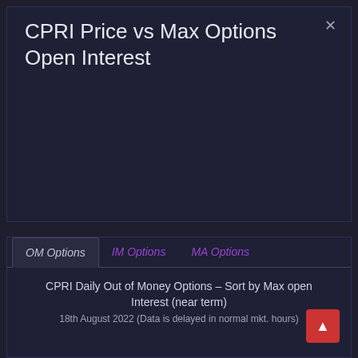CPRI Price vs Max Options Open Interest
OM Options | IM Options | MA Options
CPRI Daily Out of Money Options – Sort by Max open Interest (near term)
18th August 2022 (Data is delayed in normal mkt. hours)